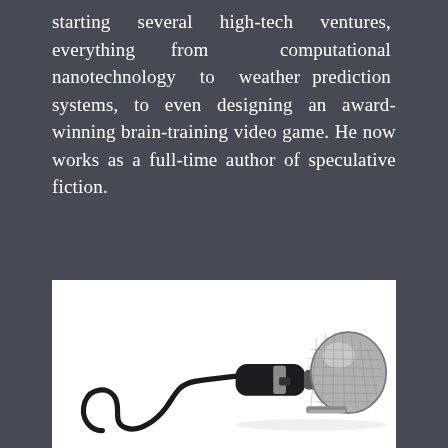starting several high-tech ventures, everything from computational nanotechnology to weather prediction systems, to even designing an award-winning brain-training video game. He now works as a full-time author of speculative fiction.
[Figure (photo): A handheld dynamic microphone with a silver mesh grille head and black handle, with a black coiled/curled cable resting on a white background.]